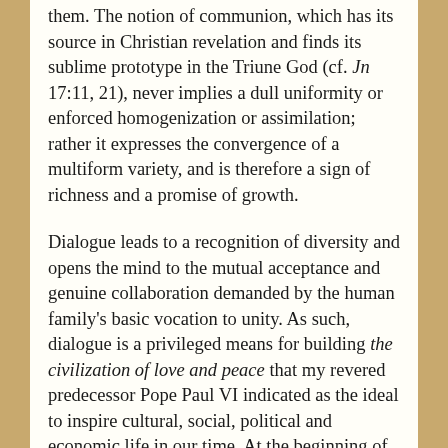them. The notion of communion, which has its source in Christian revelation and finds its sublime prototype in the Triune God (cf. Jn 17:11, 21), never implies a dull uniformity or enforced homogenization or assimilation; rather it expresses the convergence of a multiform variety, and is therefore a sign of richness and a promise of growth.
Dialogue leads to a recognition of diversity and opens the mind to the mutual acceptance and genuine collaboration demanded by the human family's basic vocation to unity. As such, dialogue is a privileged means for building the civilization of love and peace that my revered predecessor Pope Paul VI indicated as the ideal to inspire cultural, social, political and economic life in our time. At the beginning of the Third Millennium, it is urgent that the path of dialogue be proposed once again to a world marked by excessive conflict and violence, a world at times discouraged and incapable of seeing signs of hope.